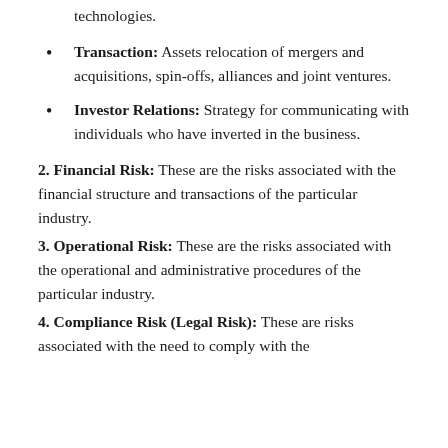technologies.
Transaction: Assets relocation of mergers and acquisitions, spin-offs, alliances and joint ventures.
Investor Relations: Strategy for communicating with individuals who have inverted in the business.
2. Financial Risk: These are the risks associated with the financial structure and transactions of the particular industry.
3. Operational Risk: These are the risks associated with the operational and administrative procedures of the particular industry.
4. Compliance Risk (Legal Risk): These are risks associated with the need to comply with the